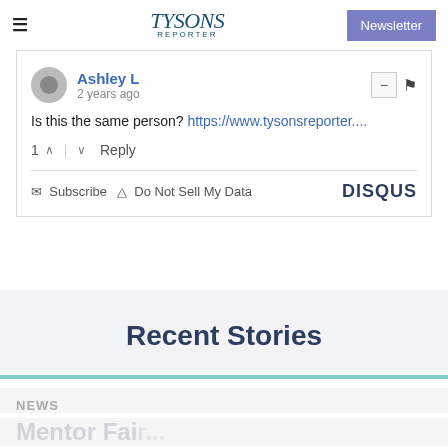≡  Tysons Reporter  Newsletter
Ashley L
2 years ago
Is this the same person? https://www.tysonsreporter....
1 ∧ | ∨  Reply
✉ Subscribe  ▲ Do Not Sell My Data  DISQUS
Recent Stories
NEWS